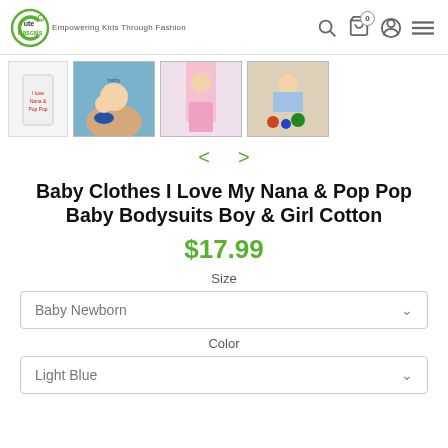Cute Rascals — Empowering Kids Through Fashion
[Figure (photo): Thumbnail strip showing four baby clothing product images including a white onesie with 'I Love My Nana & Pop Pop', a baby in a blue shirt with an adult, a baby in pink clothing, and a baby playing with toys.]
Baby Clothes I Love My Nana & Pop Pop Baby Bodysuits Boy & Girl Cotton
$17.99
Size
Baby Newborn
Color
Light Blue